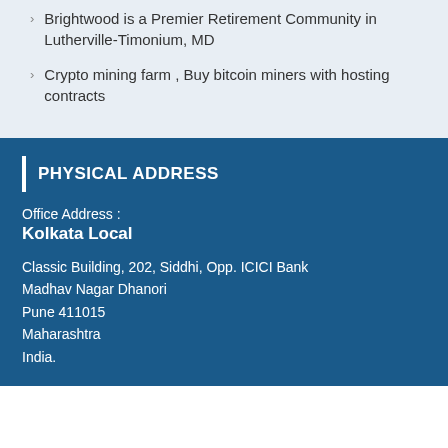Brightwood is a Premier Retirement Community in Lutherville-Timonium, MD
Crypto mining farm , Buy bitcoin miners with hosting contracts
PHYSICAL ADDRESS
Office Address :
Kolkata Local
Classic Building, 202, Siddhi, Opp. ICICI Bank
Madhav Nagar Dhanori
Pune 411015
Maharashtra
India.